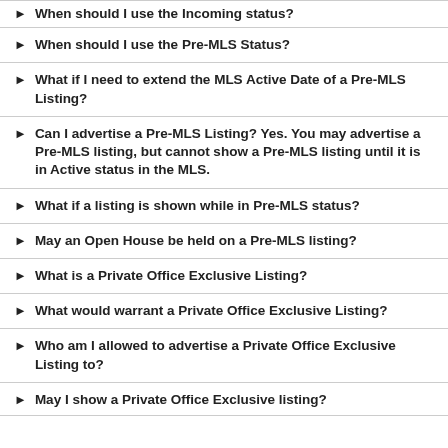When should I use the Incoming status?
When should I use the Pre-MLS Status?
What if I need to extend the MLS Active Date of a Pre-MLS Listing?
Can I advertise a Pre-MLS Listing? Yes. You may advertise a Pre-MLS listing, but cannot show a Pre-MLS listing until it is in Active status in the MLS.
What if a listing is shown while in Pre-MLS status?
May an Open House be held on a Pre-MLS listing?
What is a Private Office Exclusive Listing?
What would warrant a Private Office Exclusive Listing?
Who am I allowed to advertise a Private Office Exclusive Listing to?
May I show a Private Office Exclusive listing?